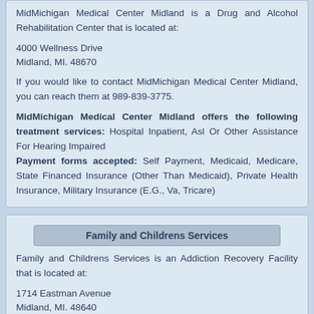MidMichigan Medical Center Midland is a Drug and Alcohol Rehabilitation Center that is located at:
4000 Wellness Drive
Midland, MI. 48670
If you would like to contact MidMichigan Medical Center Midland, you can reach them at 989-839-3775.
MidMichigan Medical Center Midland offers the following treatment services: Hospital Inpatient, Asl Or Other Assistance For Hearing Impaired
Payment forms accepted: Self Payment, Medicaid, Medicare, State Financed Insurance (Other Than Medicaid), Private Health Insurance, Military Insurance (E.G., Va, Tricare)
Family and Childrens Services
Family and Childrens Services is an Addiction Recovery Facility that is located at:
1714 Eastman Avenue
Midland, MI. 48640
If you would like to contact Family and Childrens Services, you can reach them at 989-631-5390.